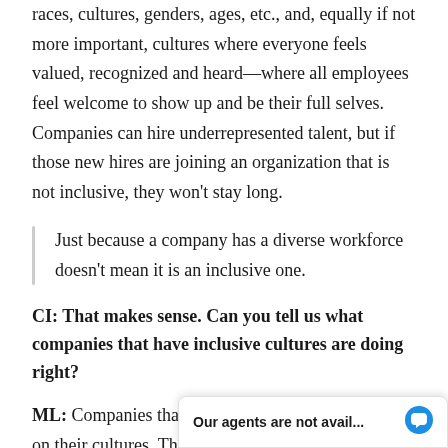races, cultures, genders, ages, etc., and, equally if not more important, cultures where everyone feels valued, recognized and heard—where all employees feel welcome to show up and be their full selves. Companies can hire underrepresented talent, but if those new hires are joining an organization that is not inclusive, they won't stay long.
Just because a company has a diverse workforce doesn't mean it is an inclusive one.
CI: That makes sense. Can you tell us what companies that have inclusive cultures are doing right?
ML: Companies that are getting it right are focusing on their cultures. They are working to ensure that underrepresented emp…